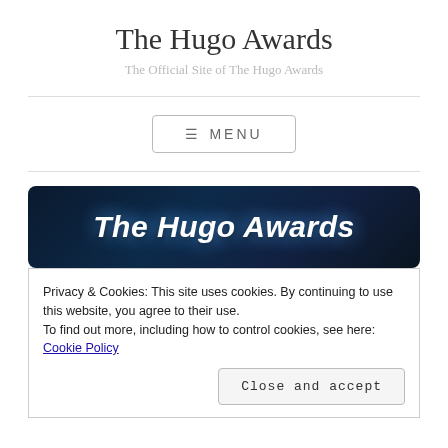The Hugo Awards
The Official Site of The Hugo Awards
≡ MENU
[Figure (illustration): Dark blue/navy banner image with bold italic white text reading 'The Hugo Awards' with a glowing blue effect]
Privacy & Cookies: This site uses cookies. By continuing to use this website, you agree to their use.
To find out more, including how to control cookies, see here: Cookie Policy
Close and accept